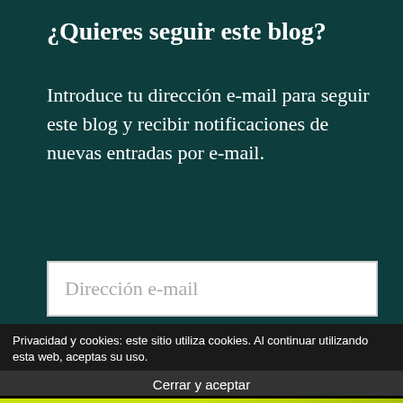¿Quieres seguir este blog?
Introduce tu dirección e-mail para seguir este blog y recibir notificaciones de nuevas entradas por e-mail.
Dirección e-mail
Privacidad y cookies: este sitio utiliza cookies. Al continuar utilizando esta web, aceptas su uso.
Para obtener más información, incluido cómo controlar las cookies, consulta aquí: Política de cookies
Cerrar y aceptar